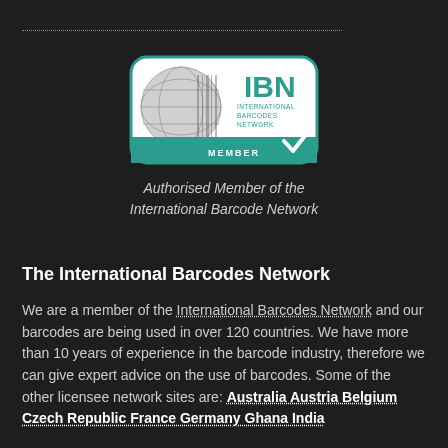[Figure (logo): IBN International Barcodes Network Member logo badge with globe and teal checkmark]
Authorised Member of the International Barcode Network
The International Barcodes Network
We are a member of the International Barcodes Network and our barcodes are being used in over 120 countries. We have more than 10 years of experience in the barcode industry, therefore we can give expert advice on the use of barcodes. Some of the other licensee network sites are: Australia Austria Belgium Czech Republic France Germany Ghana India